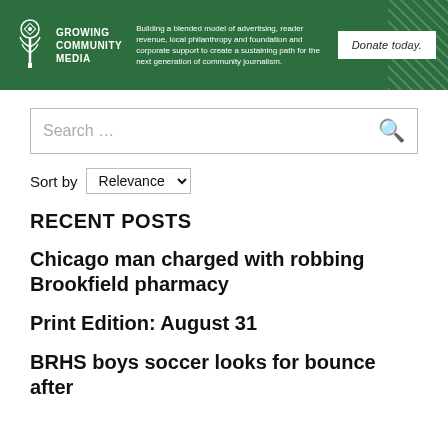[Figure (logo): Growing Community Media banner with green background, logo (tree icon with text 'GROWING COMMUNITY MEDIA'), tagline about blended model of advertising and community journalism, and a 'Donate today.' button]
Search …
Sort by Relevance
RECENT POSTS
Chicago man charged with robbing Brookfield pharmacy
Print Edition: August 31
BRHS boys soccer looks for bounce after